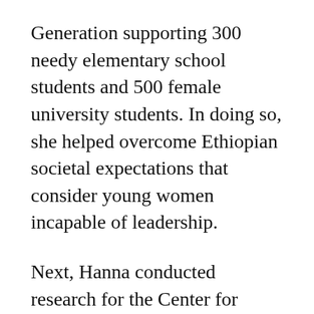Generation supporting 300 needy elementary school students and 500 female university students. In doing so, she helped overcome Ethiopian societal expectations that consider young women incapable of leadership.
Next, Hanna conducted research for the Center for Human Rights at Addis Ababa University while pursuing a master's degree in human rights. One project focused on why women with disabilities did not seek help from the legal system; the second investigated human rights